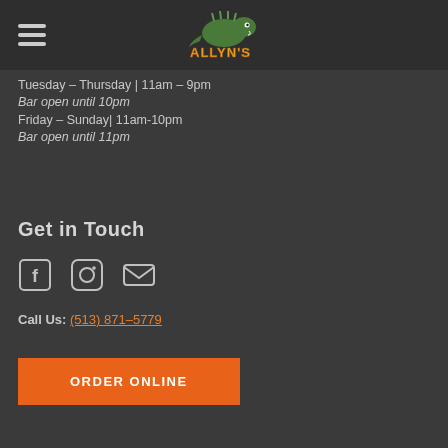[Figure (logo): Allyn's restaurant logo with a lizard/dragon mascot and stylized text ALLYN'S in orange/yellow]
Tuesday – Thursday | 11am – 9pm
Bar open until 10pm
Friday – Sunday| 11am-10pm
Bar open until 11pm
Get in Touch
[Figure (infographic): Social media icons: Facebook, Instagram, Email]
Call Us: (513) 871–5779
ORDER ONLINE